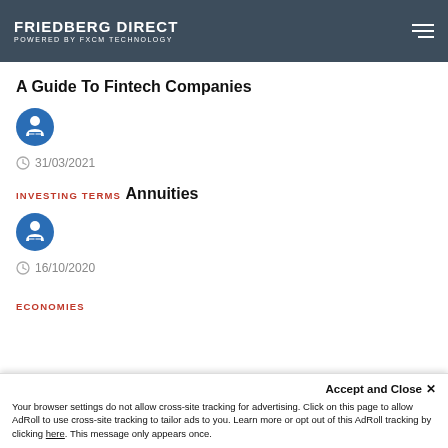FRIEDBERG DIRECT POWERED BY FXCM TECHNOLOGY
A Guide To Fintech Companies
[Figure (illustration): Blue circular author/reader icon with person holding book]
31/03/2021
INVESTING TERMS
Annuities
[Figure (illustration): Blue circular author/reader icon with person holding book]
16/10/2020
ECONOMIES
Accept and Close ✕
Your browser settings do not allow cross-site tracking for advertising. Click on this page to allow AdRoll to use cross-site tracking to tailor ads to you. Learn more or opt out of this AdRoll tracking by clicking here. This message only appears once.